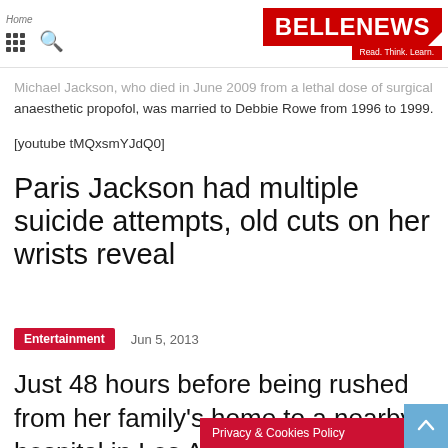BELLE NEWS — Read. Think. Learn.
Michael Jackson, who died in June 2009 from a lethal dose of surgical anaesthetic propofol, was married to Debbie Rowe from 1996 to 1999.
[youtube tMQxsmYJdQ0]
Paris Jackson had multiple suicide attempts, old cuts on her wrists reveal
Entertainment   Jun 5, 2013
Just 48 hours before being rushed from her family's home to a nearby hospital in Los Angeles after suicide